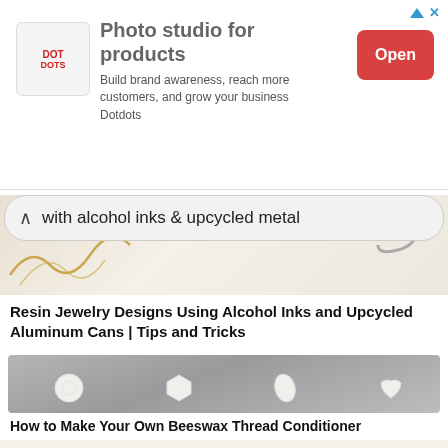[Figure (other): Advertisement banner for Dotdots photo studio for products. Shows Dotdots logo, text about building brand awareness, and a red Open button. Small blue arrow and X icons in top right.]
with alcohol inks & upcycled metal
[Figure (photo): Partial photo showing jewelry items including gold chain necklaces on a light background, with a search bar overlay showing 'with alcohol inks & upcycled metal']
Resin Jewelry Designs Using Alcohol Inks and Upcycled Aluminum Cans | Tips and Tricks
[Figure (photo): Photo of white beeswax shapes/molds on a gray background, including flower, hexagon, and leaf shapes.]
How to Make Your Own Beeswax Thread Conditioner
[Figure (photo): Partial bottom image showing gold earring hooks on a white background.]